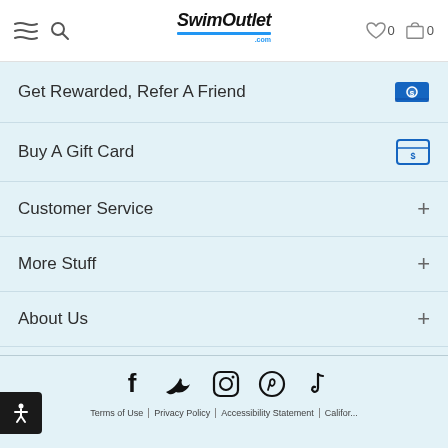SwimOutlet.com header with navigation menu icon, search icon, logo, wishlist (0), and cart (0)
Get Rewarded, Refer A Friend
Buy A Gift Card
Customer Service
More Stuff
About Us
[Figure (infographic): Social media icons row: Facebook, Twitter, Instagram, Pinterest, TikTok]
Terms of Use | Privacy Policy | Accessibility Statement | California...